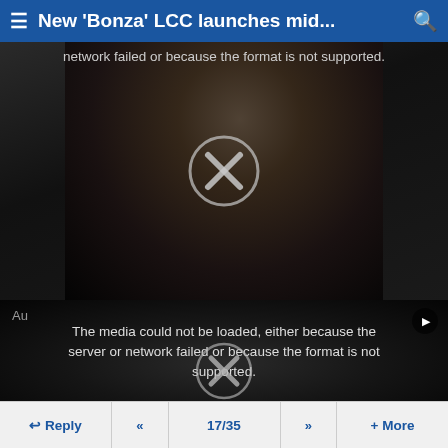≡ New 'Bonza' LCC launches mid... 🔍
[Figure (screenshot): Video player showing a woman in a black outfit with an error overlay. Error text reads: 'network failed or because the format is not supported.' A circle-X icon is overlaid on the center of the video.]
The media could not be loaded, either because the server or network failed or because the format is not supported.
[Figure (screenshot): Second video player showing airplane interior with a circle-X error icon overlaid. A play button is visible top-right and 'Au' label top-left.]
↩ Reply  <<  17/35  >>  + More